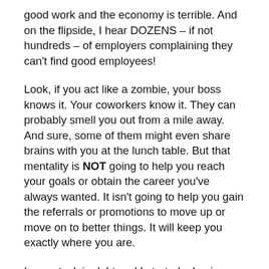good work and the economy is terrible. And on the flipside, I hear DOZENS – if not hundreds – of employers complaining they can't find good employees!
Look, if you act like a zombie, your boss knows it. Your coworkers know it. They can probably smell you out from a mile away. And sure, some of them might even share brains with you at the lunch table. But that mentality is NOT going to help you reach your goals or obtain the career you've always wanted. It isn't going to help you gain the referrals or promotions to move up or move on to better things. It will keep you exactly where you are.
I was stuck in debt and I started a business from my home selling make up products. Do you think that is what I envisioned for myself? Do you think that was my end game? Heck no! But you have to be faithful…